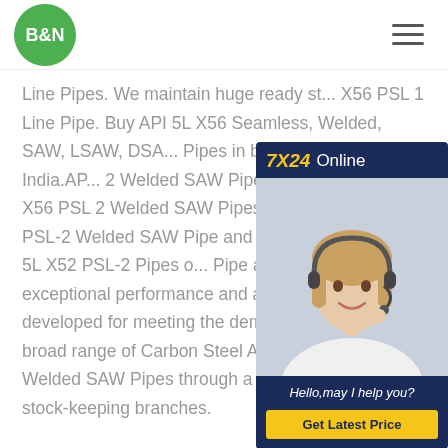B&N (logo) | hamburger menu
[Figure (illustration): 7X24 Online customer support chat widget with a photo of a woman wearing a headset and a 'Hello, may I help you?' message and 'Get Latest Price' button on dark navy background]
Line Pipes. We maintain huge ready st... X56 PSL 1 Line Pipe. Buy API 5L X56 Seamless, Welded, SAW, LSAW, DSA... Pipes in best price in Mumbai, India. AP... 2 Welded SAW Pipes Stockists, Carbo... X56 PSL 2 Welded SAW Pipes Stockis... 5L X52 PSL-2 Welded SAW Pipe and T... Application. API 5L X52 PSL-2 Pipes o... Pipe are known to deliver exceptional performance and are generally developed for meeting the demands. We offer a broad range of Carbon Steel API 5L X52 PSL-2 Welded SAW Pipes through a worldwide network of stock-keeping branches.